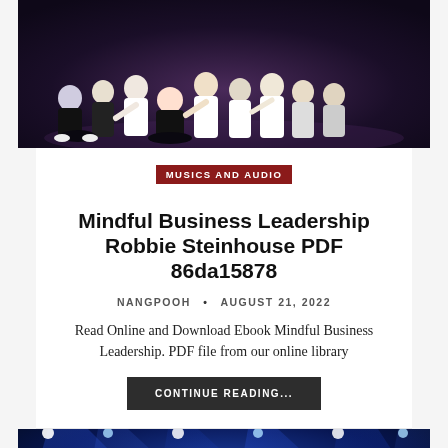[Figure (photo): Group of performers or band members posing on a dark stage with purple/blue lighting]
MUSICS AND AUDIO
Mindful Business Leadership Robbie Steinhouse PDF 86da15878
NANGPOOH • AUGUST 21, 2022
Read Online and Download Ebook Mindful Business Leadership. PDF file from our online library
CONTINUE READING...
[Figure (photo): Concert stage with blue dramatic lighting and spotlights, performer visible in lower portion]